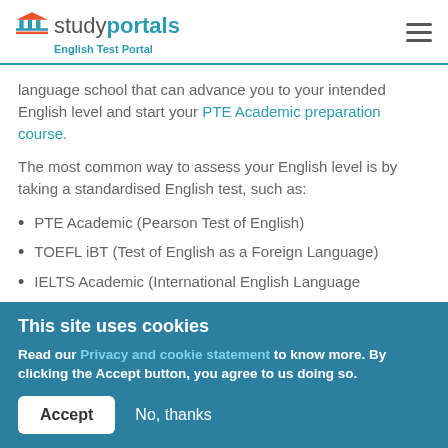studyportals - English Test Portal
language school that can advance you to your intended English level and start your PTE Academic preparation course.
The most common way to assess your English level is by taking a standardised English test, such as:
PTE Academic (Pearson Test of English)
TOEFL iBT (Test of English as a Foreign Language)
IELTS Academic (International English Language
This site uses cookies
Read our Privacy and cookie statement to know more. By clicking the Accept button, you agree to us doing so.